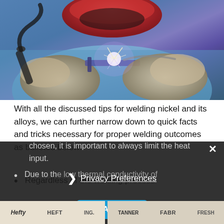[Figure (photo): A welder wearing a red protective mask and blue clothing, welding metal with bright sparks visible, gloved hands holding welding torch and workpiece.]
With all the discussed tips for welding nickel and its alloys, we can further narrow down to quick facts and tricks necessary for proper welding outcomes as bulleted below.
Regardless of the welding process chosen, it is important to always limit the heat input.
Due to the [low thermal conductivity of ...]